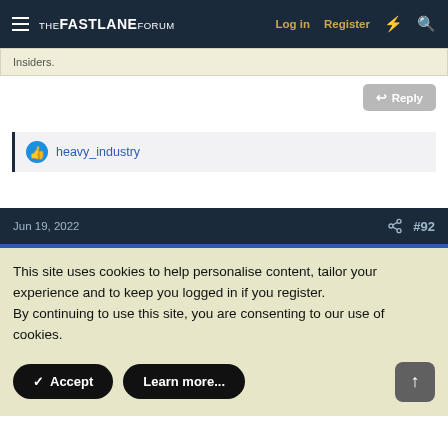THE FASTLANE FORUM  Log in  Register
Insiders.
Reply
heavy_industry
Jun 19, 2022  #92
This site uses cookies to help personalise content, tailor your experience and to keep you logged in if you register.
By continuing to use this site, you are consenting to our use of cookies.
Accept  Learn more...